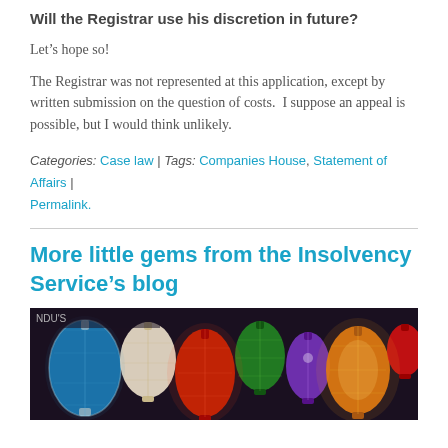Will the Registrar use his discretion in future?
Let’s hope so!
The Registrar was not represented at this application, except by written submission on the question of costs.  I suppose an appeal is possible, but I would think unlikely.
Categories: Case law | Tags: Companies House, Statement of Affairs | Permalink.
More little gems from the Insolvency Service’s blog
[Figure (photo): Photograph of colourful decorative lanterns hanging closely together, illuminated against a dark background.]